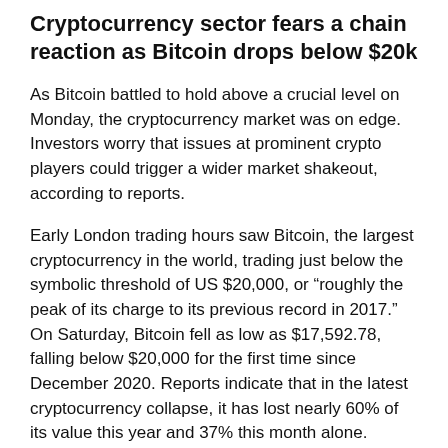Cryptocurrency sector fears a chain reaction as Bitcoin drops below $20k
As Bitcoin battled to hold above a crucial level on Monday, the cryptocurrency market was on edge. Investors worry that issues at prominent crypto players could trigger a wider market shakeout, according to reports.
Early London trading hours saw Bitcoin, the largest cryptocurrency in the world, trading just below the symbolic threshold of US $20,000, or “roughly the peak of its charge to its previous record in 2017.” On Saturday, Bitcoin fell as low as $17,592.78, falling below $20,000 for the first time since December 2020. Reports indicate that in the latest cryptocurrency collapse, it has lost nearly 60% of its value this year and 37% this month alone.
According to market participants, further declines